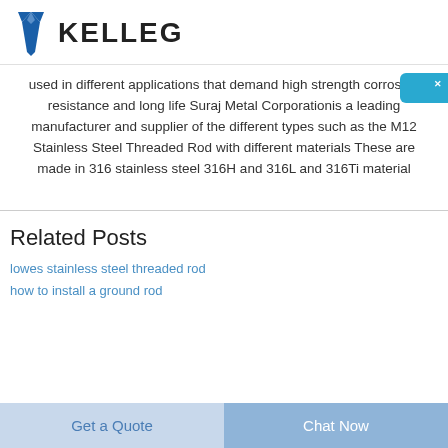KELLEG
used in different applications that demand high strength corrosion resistance and long life Suraj Metal Corporationis a leading manufacturer and supplier of the different types such as the M12 Stainless Steel Threaded Rod with different materials These are made in 316 stainless steel 316H and 316L and 316Ti material
Related Posts
lowes stainless steel threaded rod
how to install a ground rod